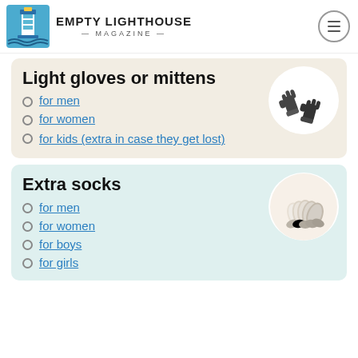Empty Lighthouse Magazine
Light gloves or mittens
[Figure (photo): Dark grey knit gloves/mittens on white circular background]
for men
for women
for kids (extra in case they get lost)
Extra socks
[Figure (photo): White ankle socks fanned out on white circular background]
for men
for women
for boys
for girls